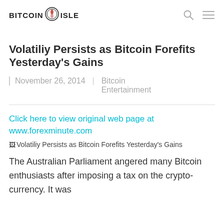BITCOIN ISLE
Volatiliy Persists as Bitcoin Forefits Yesterday's Gains
November 26, 2014 | Bitcoin Entertainment
Click here to view original web page at www.forexminute.com
[Figure (photo): Volatiliy Persists as Bitcoin Forefits Yesterday's Gains — broken image placeholder]
The Australian Parliament angered many Bitcoin enthusiasts after imposing a tax on the crypto-currency. It was